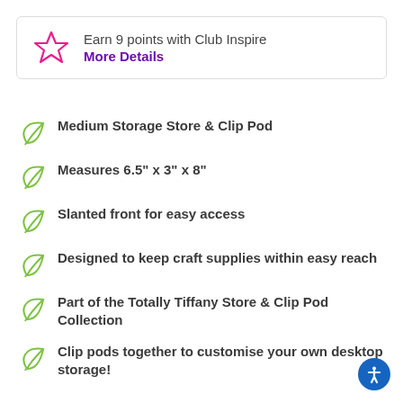Earn 9 points with Club Inspire — More Details
Medium Storage Store & Clip Pod
Measures 6.5" x 3" x 8"
Slanted front for easy access
Designed to keep craft supplies within easy reach
Part of the Totally Tiffany Store & Clip Pod Collection
Clip pods together to customise your own desktop storage!